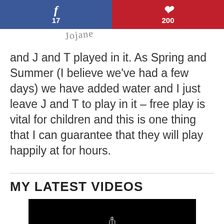[Figure (other): Social share bar with Facebook (17) and Pinterest (200) buttons]
and J and T played in it. As Spring and Summer (I believe we've had a few days) we have added water and I just leave J and T to play in it – free play is vital for children and this is one thing that I can guarantee that they will play happily at for hours.
MY LATEST VIDEOS
[Figure (screenshot): Embedded video player showing a dark/black screen with a loading spinner, and an ad overlay for BitLife - Life Simulator with an Install! button]